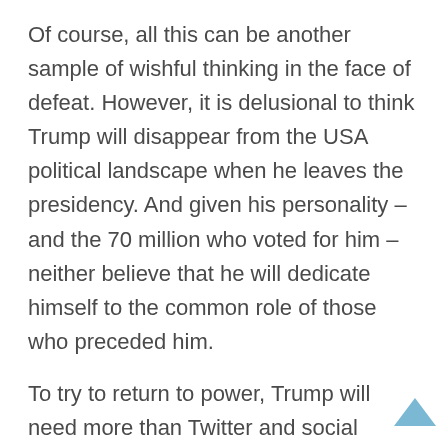Of course, all this can be another sample of wishful thinking in the face of defeat. However, it is delusional to think Trump will disappear from the USA political landscape when he leaves the presidency. And given his personality – and the 70 million who voted for him – neither believe that he will dedicate himself to the common role of those who preceded him.
To try to return to power, Trump will need more than Twitter and social media. A television network needs to replace the role of Fox News, which in the end proved